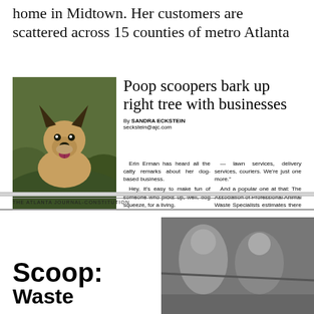home in Midtown. Her customers are scattered across 15 counties of metro Atlanta
[Figure (photo): A German Shepherd dog looking up at the camera, surrounded by green foliage. Clipart.com credit below.]
Scooping up pets' fundamental leavings is now in the hands of fearless professionals.
Poop scoopers bark up right tree with businesses
By SANDRA ECKSTEIN
seckstein@ajc.com

Erin Erman has heard all the catty remarks about her dog-based business.
  Hey, it's easy to make fun of someone who picks up, well, dog squeeze, for a living.
  But Erman has a ready answer for those who scoff at her — 700. As in clients. That's the number they're about to hit after eight years as the Dirty Work Pooper Scooper Service.
  "Sure, it's an odd business, but it's a service business like so many others," said Erman, who now has eight employees, so she only has to go 'out in the field' two afternoons a week. "People get so much personal help these days
— lawn services, delivery services, couriers. We're just one more."
  And a popular one at that: The Association of Professional Animal Waste Specialists estimates there are 250 to 300 professional pooper-scoopers nationwide.
  In Delmar, N.Y., computer programmer Steve Relles makes a tidy part-time living patrolling yards for dog waste. He started the Dog Butler about a year ago, even persuading TransWestern's Yellow Pages to create the Pet Waste Removal Service category for his new business. There you'll also find a listing for Scoopy Doo, in Glenville, N.Y. Owner Phil Coniglione says he counts eight
▶ Please see SCOOP, M4
THE ATLANTA JOURNAL-CONSTITUTION
Scoop:
Waste
[Figure (photo): Black and white photograph showing people outdoors, partially visible.]